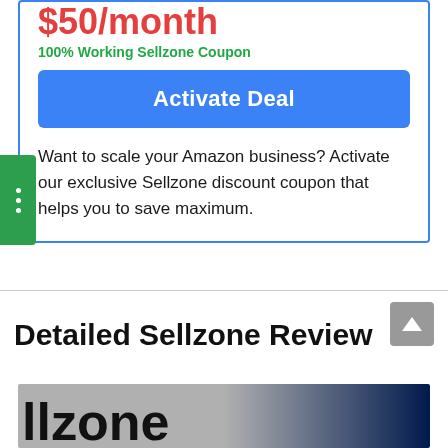$50/month
100% Working Sellzone Coupon
Activate Deal
Want to scale your Amazon business? Activate our exclusive Sellzone discount coupon that helps you to save maximum.
Detailed Sellzone Review
[Figure (screenshot): Partial screenshot of Sellzone product logo/branding image showing text 'llzone' on a gray and dark navy background.]